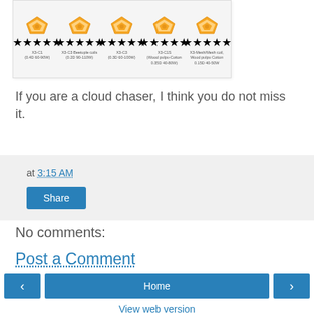[Figure (photo): Image showing multiple coil types with crown/star ratings and labels including X3-C1, X3-C3 Beetuple coils, X3-C3, X3-C1S, X3-Mesh/Mesh coil]
If you are a cloud chaser, I think you do not miss it.
at 3:15 AM
Share
No comments:
Post a Comment
Home
View web version
Powered by Blogger.